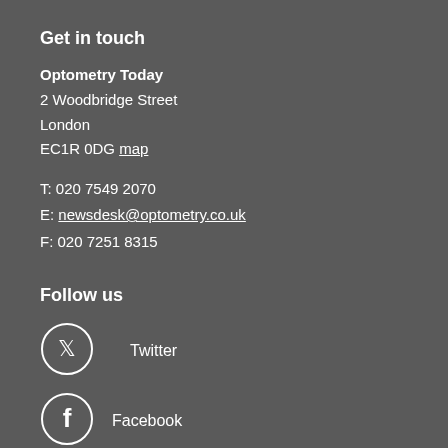Get in touch
Optometry Today
2 Woodbridge Street
London
EC1R 0DG map
T: 020 7549 2070
E: newsdesk@optometry.co.uk
F: 020 7251 8315
Follow us
Twitter
Facebook
Instagram